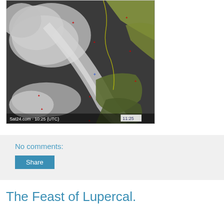[Figure (photo): Satellite image from Sat24.com showing cloud cover over what appears to be Europe/Mediterranean region. Timestamp shown: 10:25 (UTC) with overlay text '11:25'. The image shows swirling cloud formations in black and white with some green land areas visible.]
No comments:
Share
The Feast of Lupercal.